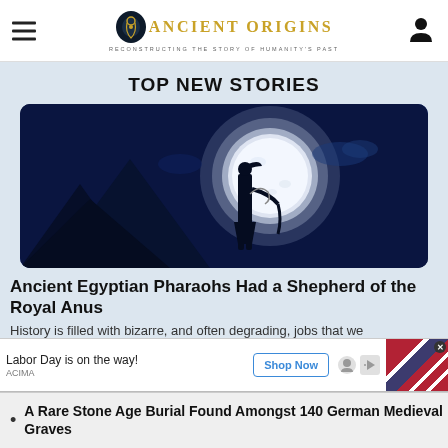Ancient Origins — Reconstructing the Story of Humanity's Past
TOP NEW STORIES
[Figure (illustration): Dark fantasy illustration of a silhouetted Egyptian figure holding a staff, standing before a large glowing moon with blue mountain landscape]
Ancient Egyptian Pharaohs Had a Shepherd of the Royal Anus
History is filled with bizarre, and often degrading, jobs that we
[Figure (screenshot): Advertisement banner: Labor Day is on the way! Shop Now button, ACIMA brand, with American flag product image and ad icons]
A Rare Stone Age Burial Found Amongst 140 German Medieval Graves